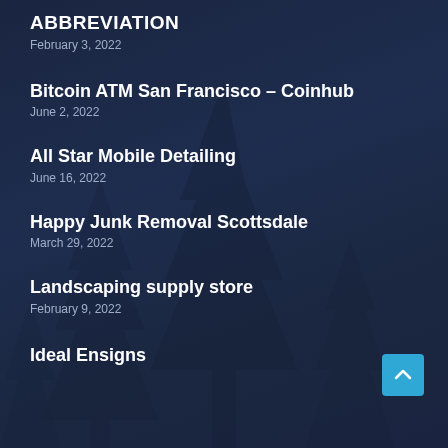ABBREVIATION
February 3, 2022
Bitcoin ATM San Francisco – Coinhub
June 2, 2022
All Star Mobile Detailing
June 16, 2022
Happy Junk Removal Scottsdale
March 29, 2022
Landscaping supply store
February 9, 2022
Ideal Ensigns…